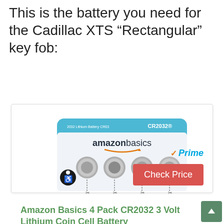This is the battery you need for the Cadillac XTS “Rectangular” key fob:
[Figure (photo): Amazon Basics CR2032 4-pack coin cell battery product packaging showing four silver coin batteries with a blue and white blister card labeled CR2032]
Amazon Basics 4 Pack CR2032 3 Volt Lithium Coin Cell Battery
Prime
Check Price